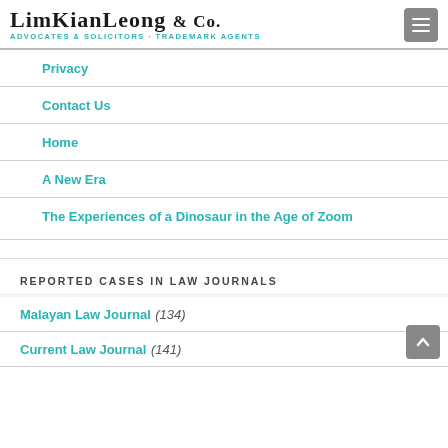LIM KIAN LEONG & Co. ADVOCATES & SOLICITORS · TRADEMARK AGENTS
Privacy
Contact Us
Home
A New Era
The Experiences of a Dinosaur in the Age of Zoom
REPORTED CASES IN LAW JOURNALS
Malayan Law Journal (134)
Current Law Journal (141)